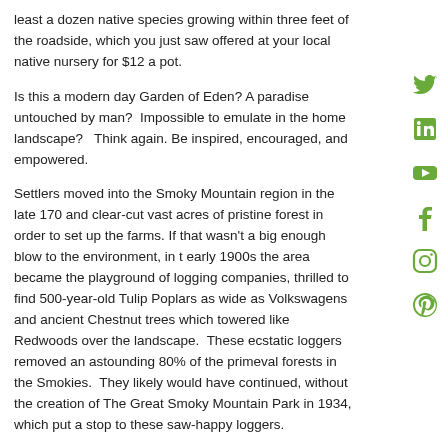least a dozen native species growing within three feet of the roadside, which you just saw offered at your local native nursery for $12 a pot.
Is this a modern day Garden of Eden? A paradise untouched by man? Impossible to emulate in the home landscape? Think again. Be inspired, encouraged, and empowered.
Settlers moved into the Smoky Mountain region in the late 170 and clear-cut vast acres of pristine forest in order to set up the farms. If that wasn't a big enough blow to the environment, in t early 1900s the area became the playground of logging companies, thrilled to find 500-year-old Tulip Poplars as wide as Volkswagens and ancient Chestnut trees which towered like Redwoods over the landscape. These ecstatic loggers removed an astounding 80% of the primeval forests in the Smokies. They likely would have continued, without the creation of The Great Smoky Mountain Park in 1934, which put a stop to these saw-happy loggers.
A denuded, pillaged landscape in 1934 has become an ecological paradise in 85 years. The current richness of species makes the Smokies the poster child for a healthy ecosystem. When asked why the deer don't devour the fantastic, tasty buffet of spring